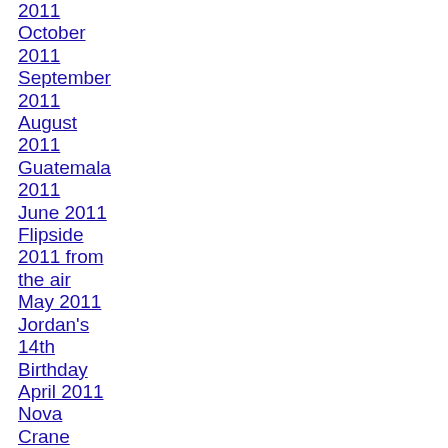2011
October 2011
September 2011
August 2011
Guatemala 2011
June 2011
Flipside 2011 from the air
May 2011
Jordan's 14th Birthday
April 2011
Nova Crane Mobile
Knitted Wonderland
March 2011
August self